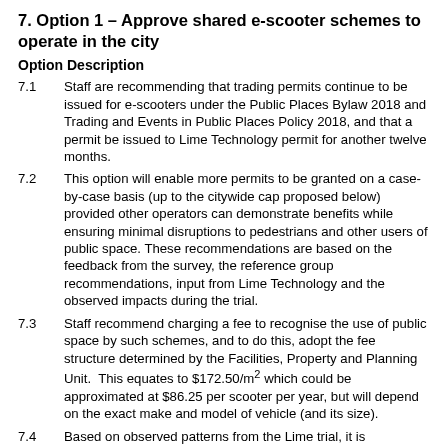7.  Option 1 – Approve shared e-scooter schemes to operate in the city
Option Description
7.1   Staff are recommending that trading permits continue to be issued for e-scooters under the Public Places Bylaw 2018 and Trading and Events in Public Places Policy 2018, and that a permit be issued to Lime Technology permit for another twelve months.
7.2   This option will enable more permits to be granted on a case-by-case basis (up to the citywide cap proposed below) provided other operators can demonstrate benefits while ensuring minimal disruptions to pedestrians and other users of public space. These recommendations are based on the feedback from the survey, the reference group recommendations, input from Lime Technology and the observed impacts during the trial.
7.3   Staff recommend charging a fee to recognise the use of public space by such schemes, and to do this, adopt the fee structure determined by the Facilities, Property and Planning Unit.  This equates to $172.50/m2 which could be approximated at $86.25 per scooter per year, but will depend on the exact make and model of vehicle (and its size).
7.4   Based on observed patterns from the Lime trial, it is...